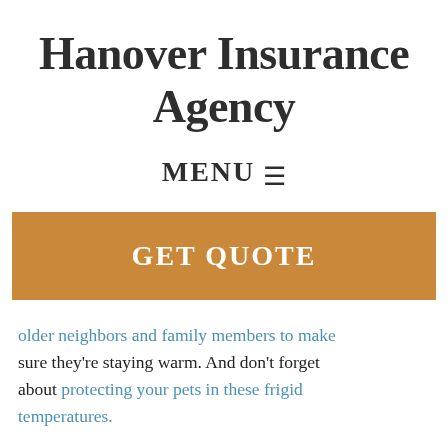Hanover Insurance Agency
MENU ☰
GET QUOTE
older neighbors and family members to make sure they're staying warm. And don't forget about protecting your pets in these frigid temperatures.